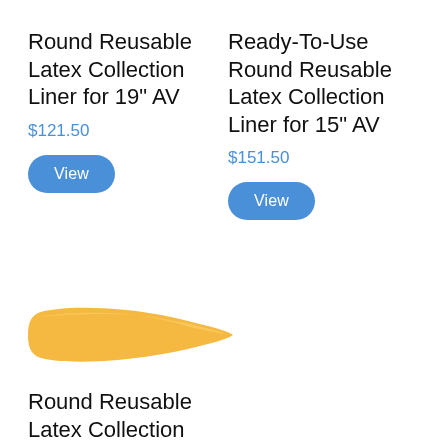Round Reusable Latex Collection Liner for 19" AV
$121.50
Ready-To-Use Round Reusable Latex Collection Liner for 15" AV
$151.50
[Figure (photo): A yellow/golden latex collection liner laid flat, elongated tube shape with a narrowed end, photographed on white background]
Round Reusable Latex Collection Liner for ...